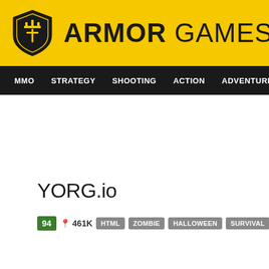[Figure (logo): Armor Games logo with yellow background, shield icon on left and ARMOR GAMES text on right]
MMO  STRATEGY  SHOOTING  ACTION  ADVENTURE  P
YORG.io
94  461K  HTML  ZOMBIE  HALLOWEEN  SURVIVAL  GAMES OF 2018